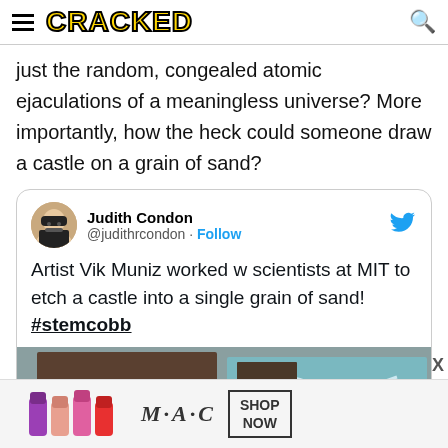CRACKED
just the random, congealed atomic ejaculations of a meaningless universe? More importantly, how the heck could someone draw a castle on a grain of sand?
[Figure (screenshot): Embedded tweet from Judith Condon (@judithrcondon) with text: 'Artist Vik Muniz worked w scientists at MIT to etch a castle into a single grain of sand! #stemcobb' with a partial image of the etched grain below.]
[Figure (photo): Advertisement banner for MAC cosmetics showing lipsticks and a SHOP NOW button.]